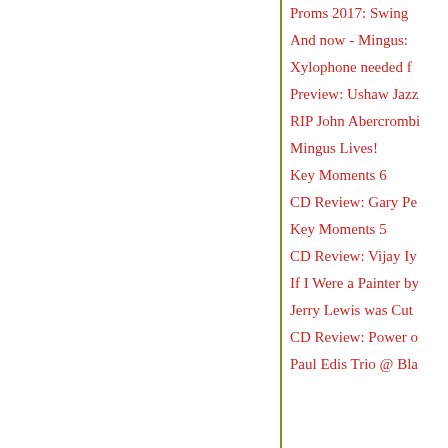Proms 2017: Swing
And now - Mingus:
Xylophone needed f
Preview: Ushaw Jazz
RIP John Abercrombi
Mingus Lives!
Key Moments 6
CD Review: Gary Pe
Key Moments 5
CD Review: Vijay Iy
If I Were a Painter by
Jerry Lewis was Cut
CD Review: Power o
Paul Edis Trio @ Bla